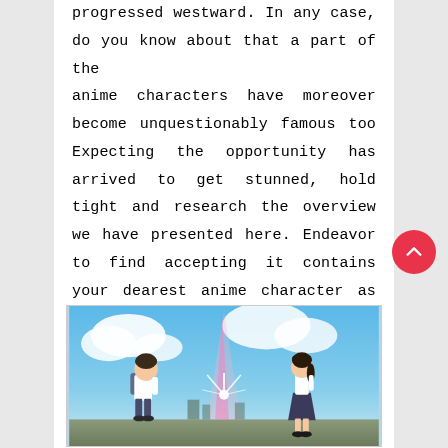progressed westward. In any case, do you know about that a part of the anime characters have moreover become unquestionably famous too Expecting the opportunity has arrived to get stunned, hold tight and research the overview we have presented here. Endeavor to find accepting it contains your dearest anime character as well.
[Figure (illustration): Anime scene showing two characters (a boy with a backpack on the left and a girl in a school uniform on the right) standing apart under a dramatic sky with light beams, resembling a scene from a Japanese animated film.]